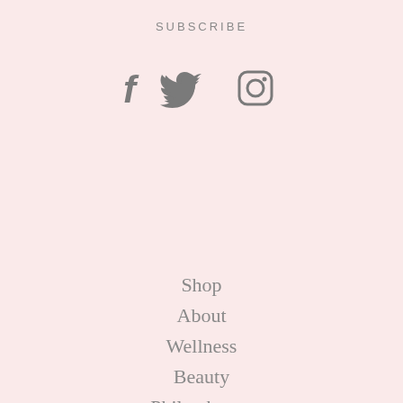SUBSCRIBE
[Figure (illustration): Three social media icons: Facebook (f), Twitter (bird), Instagram (camera/square)]
Shop
About
Wellness
Beauty
Philanthropy
Podcast
Contact
Privacy Policy
Terms of Service